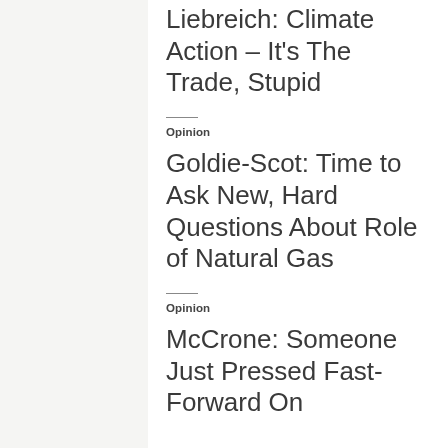Liebreich: Climate Action – It's The Trade, Stupid
Opinion
Goldie-Scot: Time to Ask New, Hard Questions About Role of Natural Gas
Opinion
McCrone: Someone Just Pressed Fast-Forward On